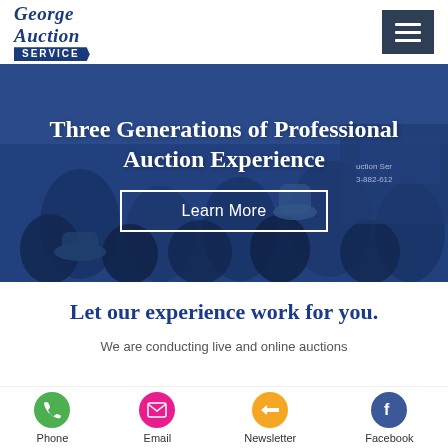[Figure (logo): George Auction Service logo with cursive text and blue ribbon banner]
[Figure (photo): Blue-tinted crowd scene at an auction with overlay text 'Three Generations of Professional Auction Experience' and a 'Learn More' button]
Let our experience work for you.
We are conducting live and online auctions
[Figure (infographic): Bottom navigation bar with Phone (green), Email (pink), Newsletter (orange), Facebook (blue) icons]